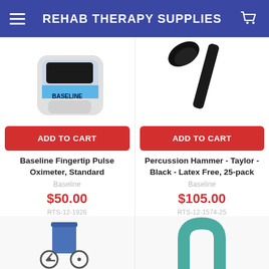REHAB THERAPY SUPPLIES
[Figure (photo): Baseline Fingertip Pulse Oximeter product photo, white/blue device]
ADD TO CART
Baseline Fingertip Pulse Oximeter, Standard
Baseline
$50.00
RTS-12-1926
[Figure (photo): Percussion Hammer Taylor Black product photo, black hammer handle]
ADD TO CART
Percussion Hammer - Taylor - Black - Latex Free, 25-pack
Baseline
$105.00
RTS-12-1574-25
[Figure (photo): Wheelchair product photo, partial view of blue wheelchair]
[Figure (photo): Partial view of a teal/green medical device or cushion]